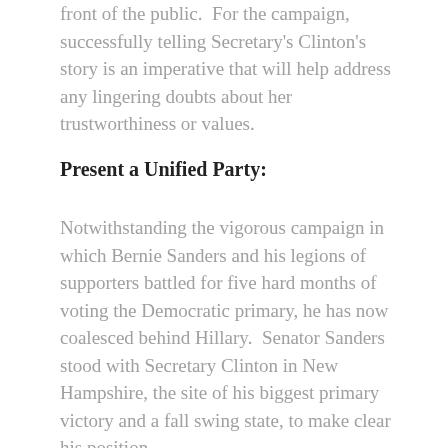front of the public.  For the campaign, successfully telling Secretary's Clinton's story is an imperative that will help address any lingering doubts about her trustworthiness or values.
Present a Unified Party:
Notwithstanding the vigorous campaign in which Bernie Sanders and his legions of supporters battled for five hard months of voting the Democratic primary, he has now coalesced behind Hillary.  Senator Sanders stood with Secretary Clinton in New Hampshire, the site of his biggest primary victory and a fall swing state, to make clear his position